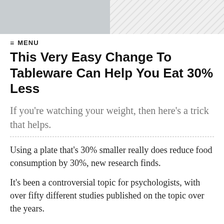[Figure (other): Website header banner with a gray block on the left and a diagonal chevron/hatched pattern on the right]
≡ MENU
This Very Easy Change To Tableware Can Help You Eat 30% Less
If you're watching your weight, then here's a trick that helps.
Using a plate that's 30% smaller really does reduce food consumption by 30%, new research finds.
It's been a controversial topic for psychologists, with over fifty different studies published on the topic over the years.
Some studies have found smaller plates help people